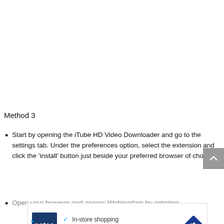Method 3
Start by opening the iTube HD Video Downloader and go to the settings tab. Under the preferences option, select the extension and click the ‘install’ button just beside your preferred browser of choice
Open your browser and access Webinarlam by entering
[Figure (other): Advertisement banner for Petco showing logo, checkmarks for 'In-store shopping' and 'Curbside pickup', and a directional arrow icon]